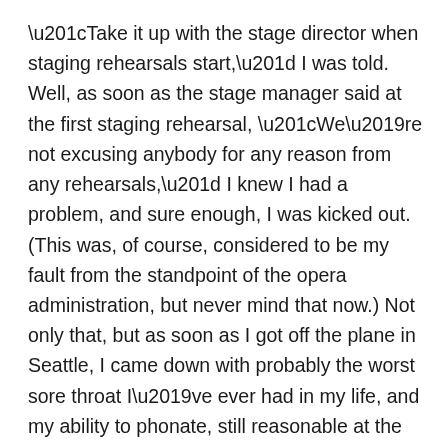“Take it up with the stage director when staging rehearsals start,” I was told. Well, as soon as the stage manager said at the first staging rehearsal, “We’re not excusing anybody for any reason from any rehearsals,” I knew I had a problem, and sure enough, I was kicked out. (This was, of course, considered to be my fault from the standpoint of the opera administration, but never mind that now.) Not only that, but as soon as I got off the plane in Seattle, I came down with probably the worst sore throat I’ve ever had in my life, and my ability to phonate, still reasonable at the first rehearsal, was in tatters by the concerts. It was the first (well, only) time I’d ever been on a gig like this, I had no idea whom to talk to or what to do, and while I managed to sort of scrape by in the concerts — well, funny thing, the Seattle Symphony folks never called me again. (My voice teacher in Seattle, who had sent Seattle